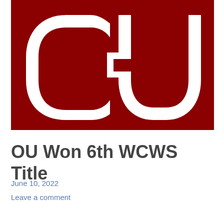[Figure (logo): University of Oklahoma interlocking OU logo in white on dark crimson/maroon background]
OU Won 6th WCWS Title
June 10, 2022
Leave a comment